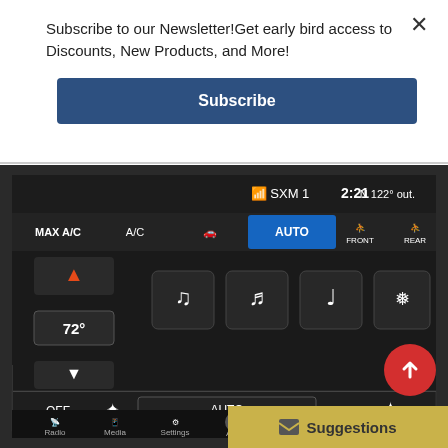Subscribe to our Newsletter!Get early bird access to Discounts, New Products, and More!
[Figure (screenshot): Subscribe button — dark blue rounded rectangle with white bold text 'Subscribe']
[Figure (photo): Car infotainment touchscreen showing climate control interface with SXM 1 radio, time 2:21, temperature compass N 122° out., MAX A/C, A/C, AUTO controls, 72° temperature setting, fan speed AUTO, and bottom navigation bar with Radio, Media, Settings, Apps, Climate, N, and remote icons. Red scroll-up button and gold Suggestions bar overlay.]